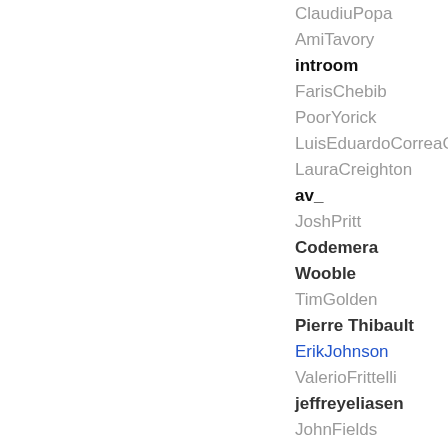ClaudiuPopa
AmiTavory
introom
FarisChebib
PoorYorick
LuisEduardoCorreaGallego
LauraCreighton
av_
JoshPritt
Codemera
Wooble
TimGolden
Pierre Thibault
ErikJohnson
ValerioFrittelli
jeffreyeliasen
JohnFields
rockyb